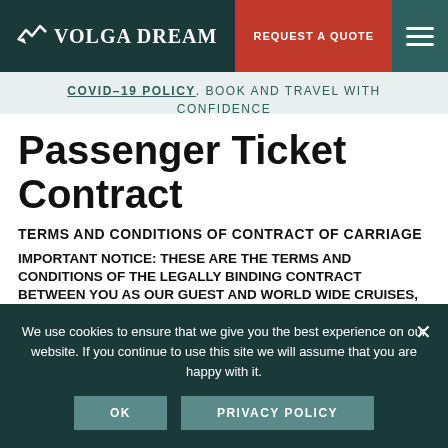Volga Dream — REQUEST A QUOTE
COVID-19 POLICY. BOOK AND TRAVEL WITH CONFIDENCE
Passenger Ticket Contract
TERMS AND CONDITIONS OF CONTRACT OF CARRIAGE
IMPORTANT NOTICE: THESE ARE THE TERMS AND CONDITIONS OF THE LEGALLY BINDING CONTRACT BETWEEN YOU AS OUR GUEST AND WORLD WIDE CRUISES, INC. THIS TICKET CONTRACT CONTAINS SUBSTANTIAL PENALTIES FOR CANCELLATION, AS WELL AS CERTAIN LIMITATIONS OF LIABILITY INCLUDING
We use cookies to ensure that we give you the best experience on our website. If you continue to use this site we will assume that you are happy with it.
OK   PRIVACY POLICY